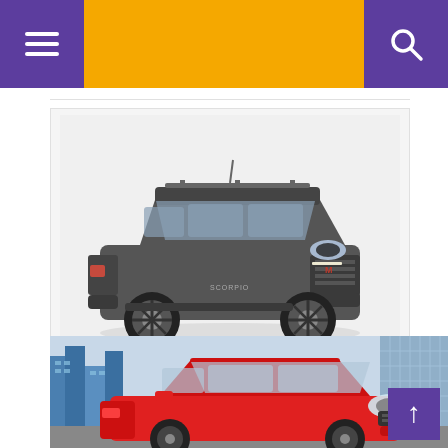Navigation header with menu and search icons
[Figure (photo): Mahindra Scorpio Classic SUV in dark grey/graphite color, front three-quarter view on white background]
Mahindra launches Scorpio Classic ; Prices to be a...
Aug 12 2022  ★★★★☆
[Figure (photo): Red hatchback car (Suzuki/Maruti) front three-quarter view with city skyline in background, partially cropped at bottom of page]